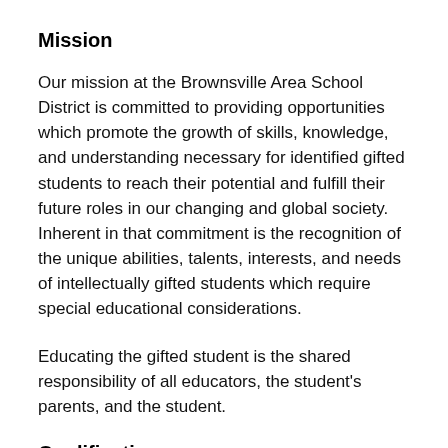Mission
Our mission at the Brownsville Area School District is committed to providing opportunities which promote the growth of skills, knowledge, and understanding necessary for identified gifted students to reach their potential and fulfill their future roles in our changing and global society. Inherent in that commitment is the recognition of the unique abilities, talents, interests, and needs of intellectually gifted students which require special educational considerations.
Educating the gifted student is the shared responsibility of all educators, the student's parents, and the student.
Qualifications